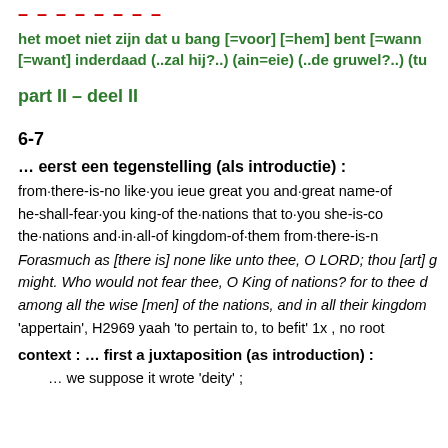– – – – – – – –
het moet niet zijn dat u bang [=voor] [=hem] bent [=wann [=want] inderdaad (..zal hij?..) (ain=eie) (..de gruwel?..) (tu
part II – deel II
6-7
… eerst een tegenstelling (als introductie) :
from·there-is-no like·you ieue great you and·great name-of he-shall-fear·you king-of the·nations that to·you she-is-co the·nations and·in·all-of kingdom-of·them from·there-is-n
Forasmuch as [there is] none like unto thee, O LORD; thou [art] g might. Who would not fear thee, O King of nations? for to thee d among all the wise [men] of the nations, and in all their kingdom
'appertain', H2969 yaah 'to pertain to, to befit' 1x , no root
context : … first a juxtaposition (as introduction) :
… we suppose it wrote 'deity' ;